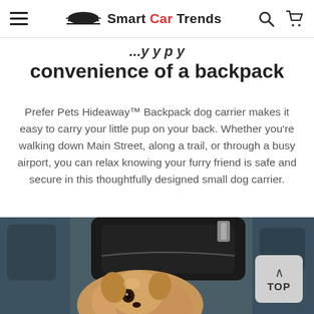Smart Car Trends — navigation bar with hamburger menu, logo, search and cart icons
convenience of a backpack
Prefer Pets Hideaway™ Backpack dog carrier makes it easy to carry your little pup on your back. Whether you're walking down Main Street, along a trail, or through a busy airport, you can relax knowing your furry friend is safe and secure in this thoughtfully designed small dog carrier.
[Figure (photo): A small fluffy dog peeking out of a black backpack/carrier on a car seat interior]